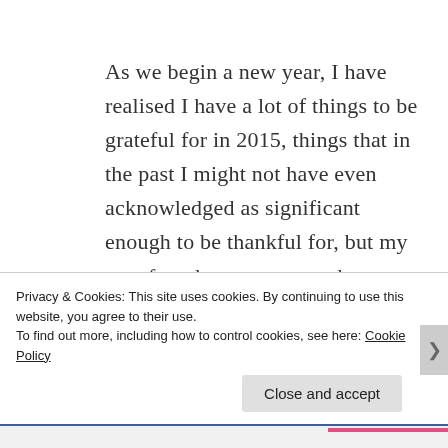As we begin a new year, I have realised I have a lot of things to be grateful for in 2015, things that in the past I might not have even acknowledged as significant enough to be thankful for, but my new found awareness made me realise how wonderful life truly is and to understand true happiness.
Privacy & Cookies: This site uses cookies. By continuing to use this website, you agree to their use.
To find out more, including how to control cookies, see here: Cookie Policy